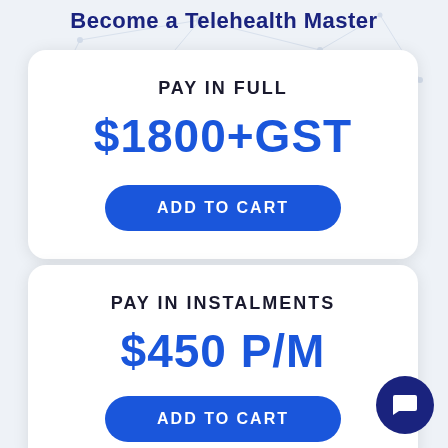Become a Telehealth Master
PAY IN FULL
$1800+GST
ADD TO CART
PAY IN INSTALMENTS
$450 P/M
ADD TO CART